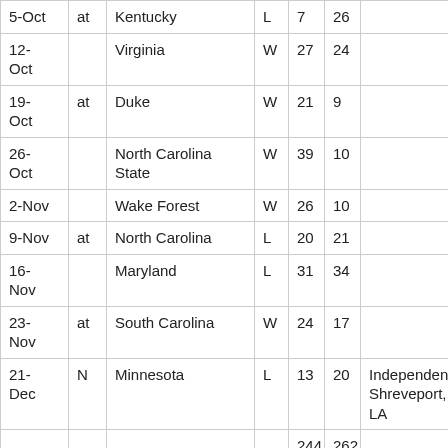| 5-Oct | at | Kentucky | L | 7 | 26 |  |
| 12-Oct |  | Virginia | W | 27 | 24 |  |
| 19-Oct | at | Duke | W | 21 | 9 |  |
| 26-Oct |  | North Carolina State | W | 39 | 10 |  |
| 2-Nov |  | Wake Forest | W | 26 | 10 |  |
| 9-Nov | at | North Carolina | L | 20 | 21 |  |
| 16-Nov |  | Maryland | L | 31 | 34 |  |
| 23-Nov | at | South Carolina | W | 24 | 17 |  |
| 21-Dec | N | Minnesota | L | 13 | 20 | Independence-Shreveport, LA |
|  |  |  |  | 244 | 262 |  |